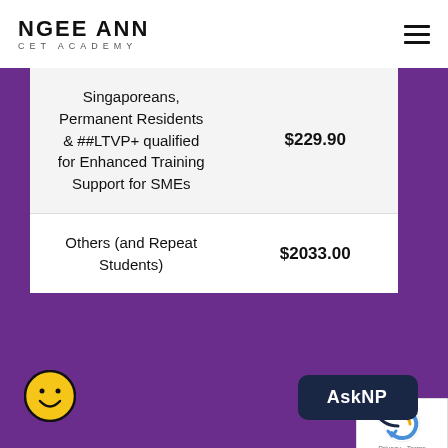NGEE ANN CET ACADEMY
| Category | Price |
| --- | --- |
| Singaporeans, Permanent Residents & ##LTVP+ qualified for Enhanced Training Support for SMEs | $229.90 |
| Others (and Repeat Students) | $2033.00 |
[Figure (logo): reCAPTCHA badge with logo and Privacy/Terms links]
[Figure (illustration): AskNP chat button and smiley face icon on purple background]